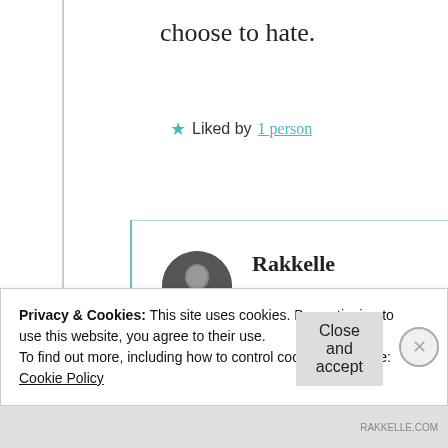choose to hate.
★ Liked by 1 person
Rakkelle
February 19, 2019 at 12:26 am
Privacy & Cookies: This site uses cookies. By continuing to use this website, you agree to their use.
To find out more, including how to control cookies, see here: Cookie Policy
Close and accept